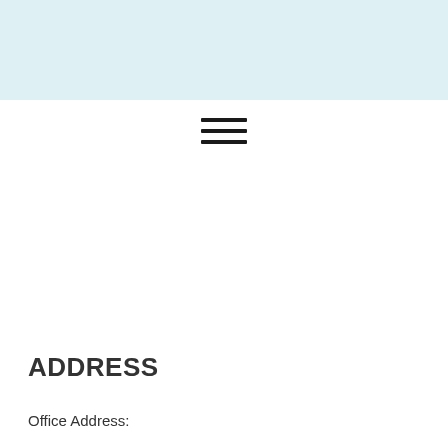[Figure (other): Light blue banner/header background spanning the top of the page]
[Figure (other): Hamburger menu icon with three horizontal bars, centered horizontally below the banner]
ADDRESS
Office Address: